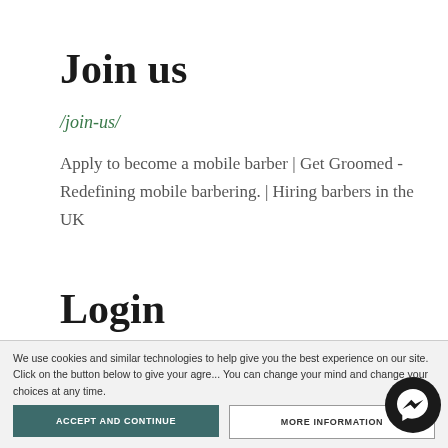Join us
/join-us/
Apply to become a mobile barber | Get Groomed - Redefining mobile barbering. | Hiring barbers in the UK
Login
/login/
Register now to book an appointment with your mobile barber for beard grooming, hair clippers or haircut
We use cookies and similar technologies to help give you the best experience on our site. Click on the button below to give your agre... You can change your mind and change your choices at any time.
ACCEPT AND CONTINUE
MORE INFORMATION